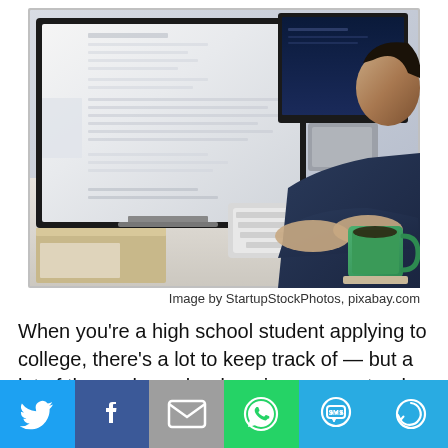[Figure (photo): Person sitting at a desk working on multiple computer monitors, typing on a keyboard with a green coffee mug nearby. Apple iMac screens visible showing documents. Office/work setting.]
Image by StartupStockPhotos, pixabay.com
When you’re a high school student applying to college, there’s a lot to keep track of — but a lot of the work can be done in a very natural way. Teachers provide reminders
[Figure (infographic): Social share bar with buttons: Twitter (blue bird), Facebook (blue f), Email (grey envelope), WhatsApp (green phone), SMS (blue SMS bubble), More (blue circle arrow)]